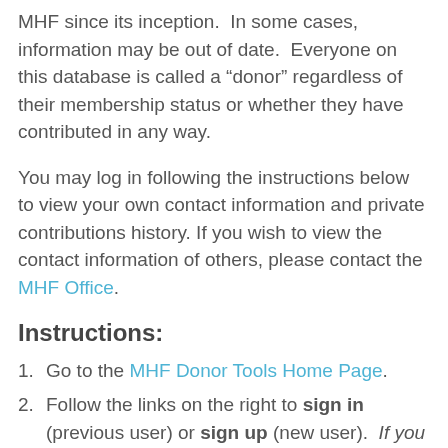MHF since its inception.  In some cases, information may be out of date.  Everyone on this database is called a “donor” regardless of their membership status or whether they have contributed in any way.
You may log in following the instructions below to view your own contact information and private contributions history. If you wish to view the contact information of others, please contact the MHF Office.
Instructions:
Go to the MHF Donor Tools Home Page.
Follow the links on the right to sign in (previous user) or sign up (new user).  If you are not sure whether you have signed up, try signing up as a new user and you